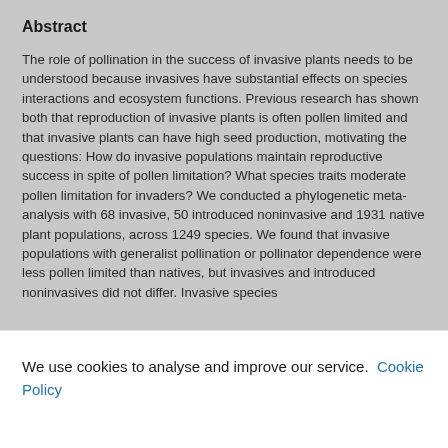Abstract
The role of pollination in the success of invasive plants needs to be understood because invasives have substantial effects on species interactions and ecosystem functions. Previous research has shown both that reproduction of invasive plants is often pollen limited and that invasive plants can have high seed production, motivating the questions: How do invasive populations maintain reproductive success in spite of pollen limitation? What species traits moderate pollen limitation for invaders? We conducted a phylogenetic meta-analysis with 68 invasive, 50 introduced noninvasive and 1931 native plant populations, across 1249 species. We found that invasive populations with generalist pollination or pollinator dependence were less pollen limited than natives, but invasives and introduced noninvasives did not differ. Invasive species
We use cookies to analyse and improve our service. Cookie Policy